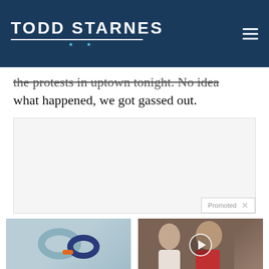TODD STARNES
the protests in uptown tonight. No idea what happened, we got gassed out.
[Figure (other): Advertisement box with Promoted label and X close button]
[Figure (photo): Photo of shackle/cuff fitness device in light blue, orange and dark blue colors]
Treat ED With Eddie — The Proven, Comfortable Wearable That Comes With A Satisfaction Guarantee
82,475
[Figure (photo): Video thumbnail showing a man and woman with a play button overlay]
Democrats Want This Video Destroyed — Watch Now Before It's Banned
225,966